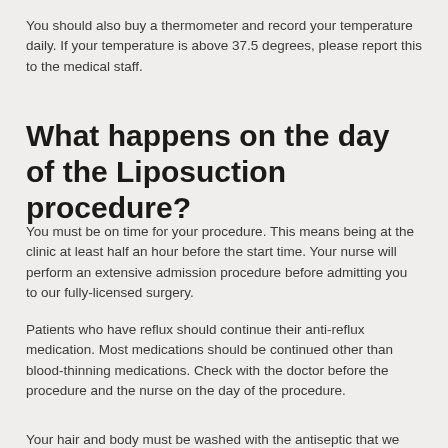You should also buy a thermometer and record your temperature daily. If your temperature is above 37.5 degrees, please report this to the medical staff.
What happens on the day of the Liposuction procedure?
You must be on time for your procedure. This means being at the clinic at least half an hour before the start time. Your nurse will perform an extensive admission procedure before admitting you to our fully-licensed surgery.
Patients who have reflux should continue their anti-reflux medication. Most medications should be continued other than blood-thinning medications. Check with the doctor before the procedure and the nurse on the day of the procedure.
Your hair and body must be washed with the antiseptic that we recommend using.
Important: If you've been smoking in the last 2 weeks, the